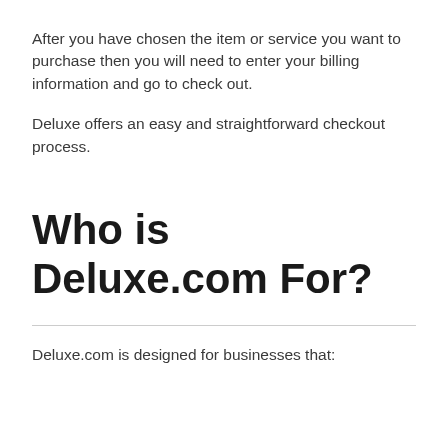After you have chosen the item or service you want to purchase then you will need to enter your billing information and go to check out.
Deluxe offers an easy and straightforward checkout process.
Who is Deluxe.com For?
Deluxe.com is designed for businesses that: